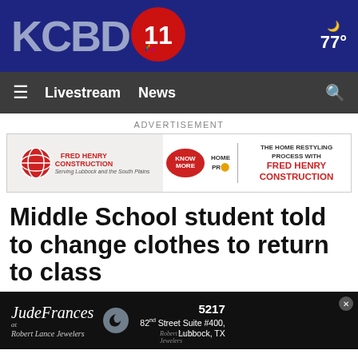KCBD 11 – 77°
[Figure (logo): KCBD NewsChannel 11 logo with NBC peacock and weather widget showing 77 degrees]
≡  Livestream  News  🔍
[Figure (advertisement): Fred Henry Construction – Know More – Home Pro – The Home Restyling Process with Fred Henry Construction advertisement banner]
Middle School student told to change clothes to return to class
[Figure (advertisement): Jude Frances at Robert Lance Jewelers – 5217 82nd Street Suite #400, Lubbock, TX – bottom banner advertisement]